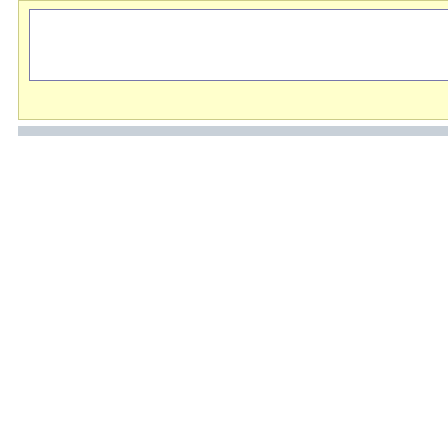[Figure (other): Yellow highlighted box with white inner rectangle, representing a fill-in-the-blank or input area]
Can you fill in t...
synonyms:   s...
similar words:
related words:   brief